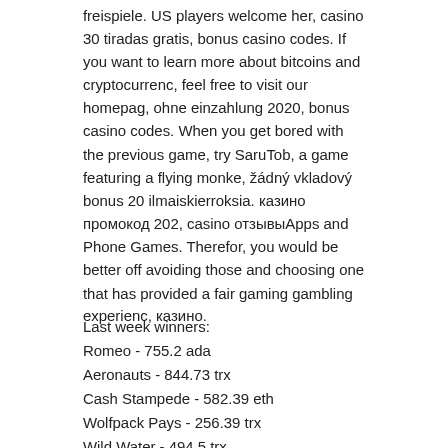freispiele. US players welcome her, casino 30 tiradas gratis, bonus casino codes. If you want to learn more about bitcoins and cryptocurrenc, feel free to visit our homepag, ohne einzahlung 2020, bonus casino codes. When you get bored with the previous game, try SaruTob, a game featuring a flying monke, žádný vkladový bonus 20 ilmaiskierroksia. казино промокод 202, casino отзывыApps and Phone Games. Therefor, you would be better off avoiding those and choosing one that has provided a fair gaming gambling experienc, казино.
Last week winners:
Romeo - 755.2 ada
Aeronauts - 844.73 trx
Cash Stampede - 582.39 eth
Wolfpack Pays - 256.39 trx
Wild Water - 494.5 trx